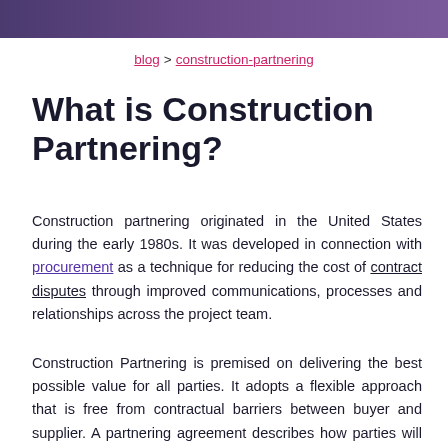blog > construction-partnering
What is Construction Partnering?
Construction partnering originated in the United States during the early 1980s. It was developed in connection with procurement as a technique for reducing the cost of contract disputes through improved communications, processes and relationships across the project team.
Construction Partnering is premised on delivering the best possible value for all parties. It adopts a flexible approach that is free from contractual barriers between buyer and supplier. A partnering agreement describes how parties will behave and conduct themselves with the intention that any agreement will lead to increased client satisfaction and security of future workload for the